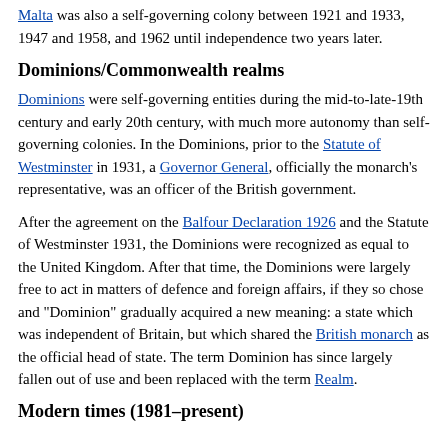Malta was also a self-governing colony between 1921 and 1933, 1947 and 1958, and 1962 until independence two years later.
Dominions/Commonwealth realms
Dominions were self-governing entities during the mid-to-late-19th century and early 20th century, with much more autonomy than self-governing colonies. In the Dominions, prior to the Statute of Westminster in 1931, a Governor General, officially the monarch's representative, was an officer of the British government.
After the agreement on the Balfour Declaration 1926 and the Statute of Westminster 1931, the Dominions were recognized as equal to the United Kingdom. After that time, the Dominions were largely free to act in matters of defence and foreign affairs, if they so chose and "Dominion" gradually acquired a new meaning: a state which was independent of Britain, but which shared the British monarch as the official head of state. The term Dominion has since largely fallen out of use and been replaced with the term Realm.
Modern times (1981–present)